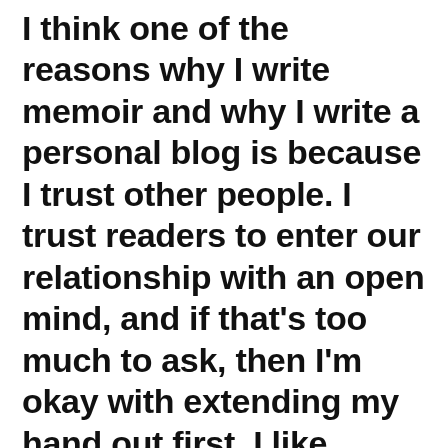I think one of the reasons why I write memoir and why I write a personal blog is because I trust other people. I trust readers to enter our relationship with an open mind, and if that's too much to ask, then I'm okay with extending my hand out first. I like making friends. I enjoy making folks laugh, ponder, self-reflect, and vice versa.
Learning to be vulnerable has probably been one of my greatest